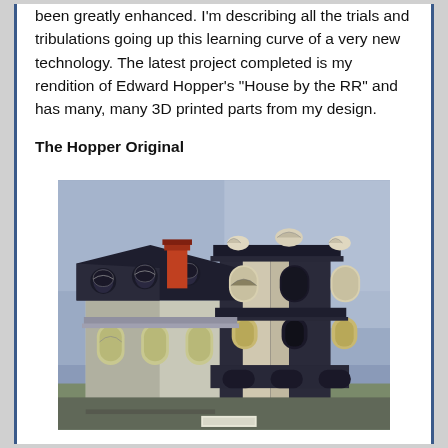been greatly enhanced. I'm describing all the trials and tribulations going up this learning curve of a very new technology. The latest project completed is my rendition of Edward Hopper's "House by the RR" and has many, many 3D printed parts from my design.
The Hopper Original
[Figure (photo): Edward Hopper's painting 'House by the Railroad' showing a Victorian mansion with mansard roof, dark tower, and red chimney against a blue-grey sky.]